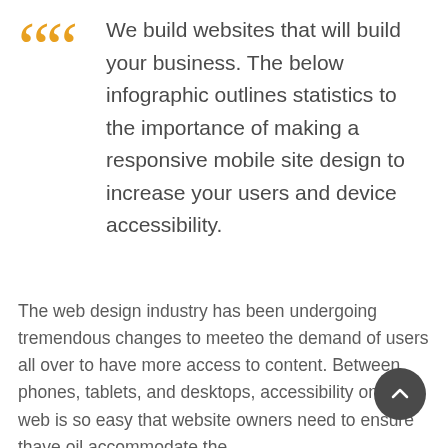We build websites that will build your business. The below infographic outlines statistics to the importance of making a responsive mobile site design to increase your users and device accessibility.
The web design industry has been undergoing tremendous changes to meeteo the demand of users all over to have more access to content. Between phones, tablets, and desktops, accessibility on the web is so easy that website owners need to ensure thave oil accommodate the